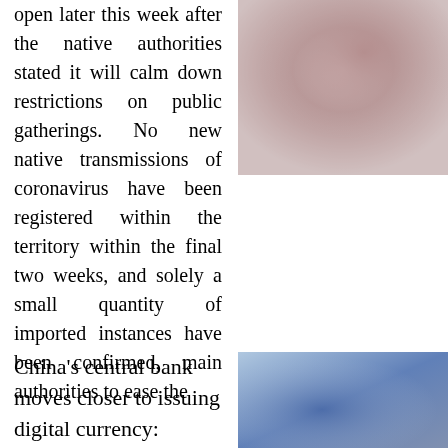open later this week after the native authorities stated it will calm down restrictions on public gatherings. No new native transmissions of coronavirus have been registered within the territory within the final two weeks, and solely a small quantity of imported instances have been confirmed, main authorities to ease the
[Figure (photo): A blurred photo with pinkish-brown and muted tones in the top right corner of the page]
China's central bank moves closer to issuing digital currency: insiders
[Figure (photo): A blurred photo with blue and grey gradient tones in the bottom right corner of the page]